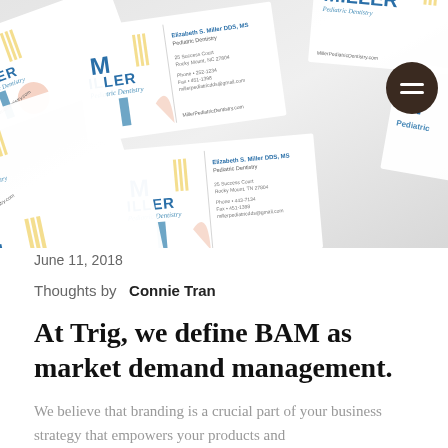[Figure (photo): A collage of Miller Pediatric Dentistry business cards arranged at various angles, showing the brand identity with blue MILLER logo text, stylized M monogram, contact information, and decorative geometric shapes in yellow, pink, and blue. A dark circular menu button is visible in the upper right corner.]
June 11, 2018
Thoughts by  Connie Tran
At Trig, we define BAM as market demand management.
We believe that branding is a crucial part of your business strategy that empowers your products and